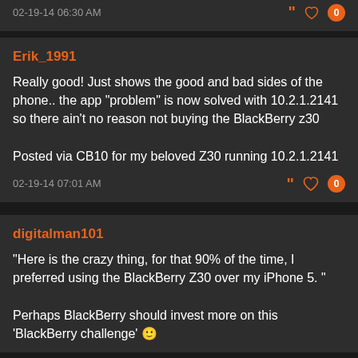02-19-14 06:30 AM
Erik_1991
Really good! Just shows the good and bad sides of the phone.. the app "problem" is now solved with 10.2.1.2141 so there ain't no reason not buying the BlackBerry z30

Posted via CB10 for my beloved Z30 running 10.2.1.2141
02-19-14 07:01 AM
digitalman101
"Here is the crazy thing, for that 90% of the time, I preferred using the BlackBerry Z30 over my iPhone 5. "

Perhaps BlackBerry should invest more on this 'BlackBerry challenge' 🙂